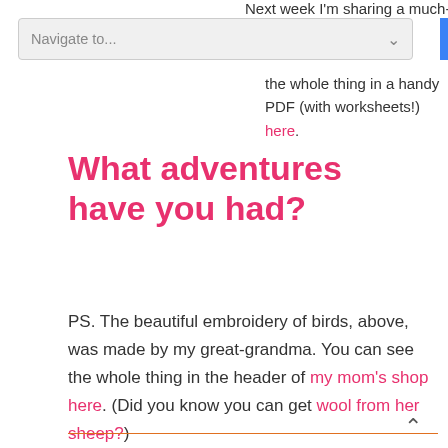Next week I'm sharing a much-requested
[Figure (screenshot): Navigate to... dropdown navigation element with chevron arrow on right]
the whole thing in a handy PDF (with worksheets!) here.
What adventures have you had?
PS. The beautiful embroidery of birds, above, was made by my great-grandma. You can see the whole thing in the header of my mom's shop here. (Did you know you can get wool from her sheep?)